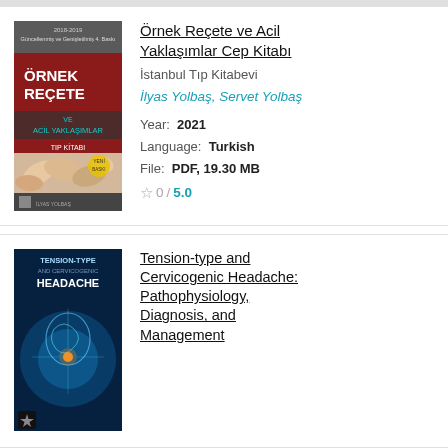[Figure (illustration): Book cover for Örnek Reçete ve Acil Yaklaşımlar Cep Kitabı – red and grey cover with pills image]
Örnek Reçete ve Acil Yaklaşımlar Cep Kitabı
İstanbul Tıp Kitabevi
İlyas Yolbaş, Servet Yolbaş
Year: 2021
Language: Turkish
File: PDF, 19.30 MB
☆ 0 / 5.0
[Figure (illustration): Book cover for Tension-type and Cervicogenic Headache – blue cover with brain/head medical illustration]
Tension-type and Cervicogenic Headache: Pathophysiology, Diagnosis, and Management
( Caesar annotation continues below )